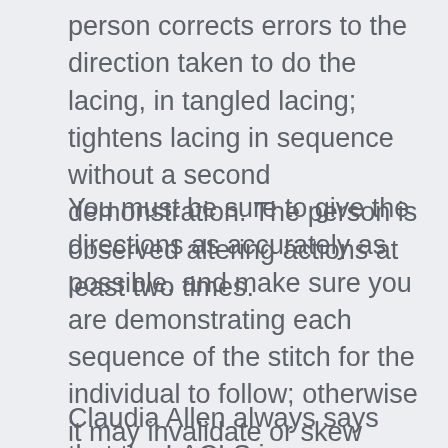person corrects errors to the direction taken to do the lacing, in tangled lacing; tightens lacing in sequence without a second demonstration. The person is observed altering actions at least two times.
You must be sure to give the directions as accurately as possible, and make sure you are demonstrating each sequence of the stitch for the individual to follow; otherwise it may invalidate or skew your scoring.
Claudia Allen always says that the LACLS is